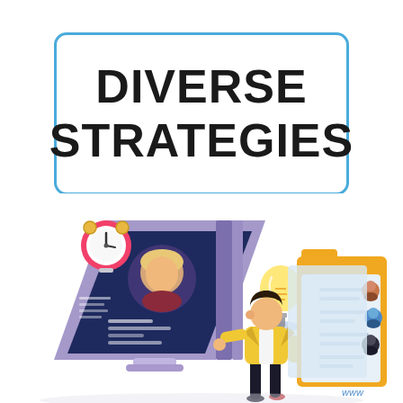DIVERSE STRATEGIES
[Figure (illustration): Isometric illustration showing a large monitor displaying a woman's profile with data entries, a person in a yellow jacket pointing at the screen, a file folder with profile cards and small avatar icons, a glowing light bulb on a pedestal, and an alarm clock in the upper left corner.]